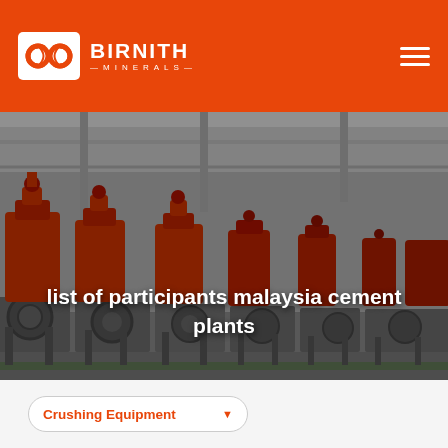BIRNITH MINERALS
[Figure (photo): Industrial cement plant equipment — rows of large red mechanical components mounted on grey metal frames in a factory hall.]
list of participants malaysia cement plants
Crushing Equipment